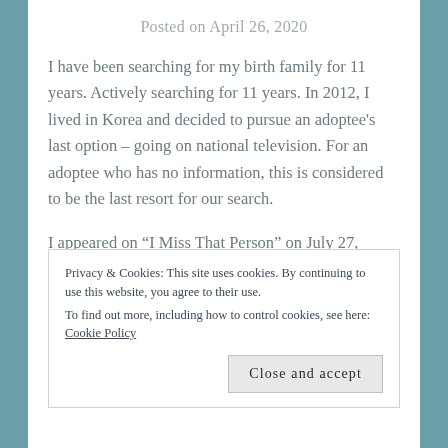Posted on April 26, 2020
I have been searching for my birth family for 11 years. Actively searching for 11 years. In 2012, I lived in Korea and decided to pursue an adoptee’s last option – going on national television. For an adoptee who has no information, this is considered to be the last resort for our search.
I appeared on “I Miss That Person” on July 27,
Privacy & Cookies: This site uses cookies. By continuing to use this website, you agree to their use.
To find out more, including how to control cookies, see here: Cookie Policy
mother.